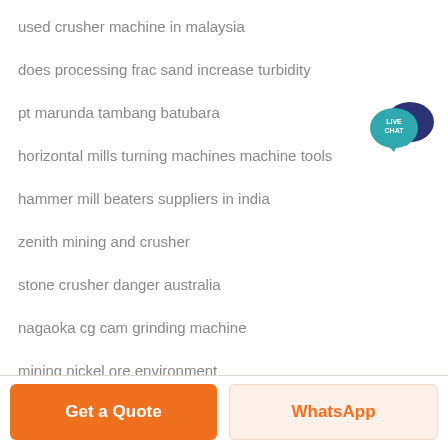used crusher machine in malaysia
does processing frac sand increase turbidity
[Figure (illustration): Live Chat speech bubble widget icon — teal/blue speech bubbles with 'LIVE CHAT' text]
pt marunda tambang batubara
horizontal mills turning machines machine tools
hammer mill beaters suppliers in india
zenith mining and crusher
stone crusher danger australia
nagaoka cg cam grinding machine
mining nickel ore environment
Get a Quote | WhatsApp